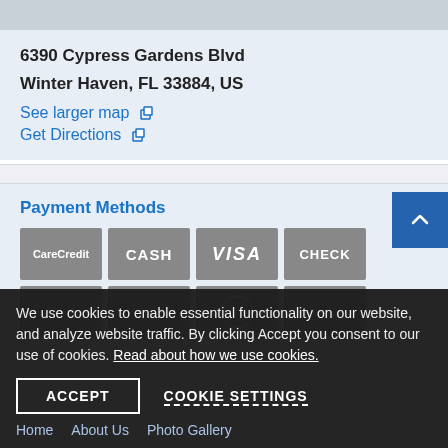[Figure (map): Partial map view at top of page]
6390 Cypress Gardens Blvd
Winter Haven, FL 33884, US
See larger map
Get Directions
Payment Methods
[Figure (infographic): Payment method icons: CareCredit, CASH, VISA, CHECK, and more below]
We use cookies to enable essential functionality on our website, and analyze website traffic. By clicking Accept you consent to our use of cookies. Read about how we use cookies.
ACCEPT
COOKIE SETTINGS
Home   About Us   Photo Gallery